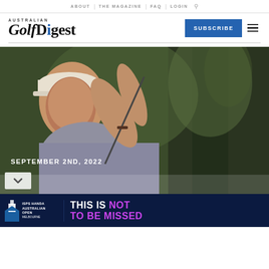ABOUT | THE MAGAZINE | FAQ | LOGIN
[Figure (logo): Australian Golf Digest logo with blue dot on 'i']
SUBSCRIBE
[Figure (photo): Golfer in follow-through swing position, wearing cap, dark green blurred background]
SEPTEMBER 2ND, 2022
[Figure (infographic): ISPS Handa Australian Open Melbourne advertisement banner: 'THIS IS NOT TO BE MISSED']